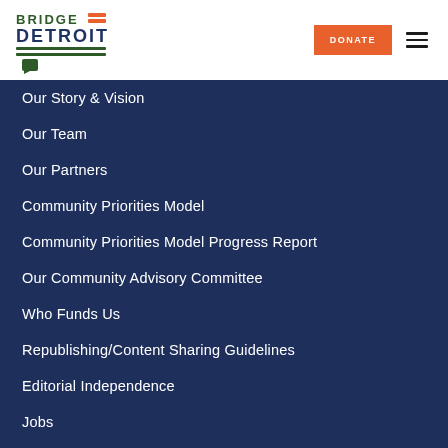[Figure (logo): Bridge Detroit logo with green and orange accent]
Our Story & Vision
Our Team
Our Partners
Community Priorities Model
Community Priorities Model Progress Report
Our Community Advisory Committee
Who Funds Us
Republishing/Content Sharing Guidelines
Editorial Independence
Jobs
Sponsors